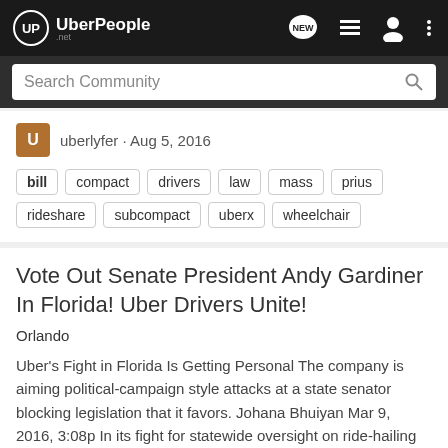UberPeople.net
Search Community
uberlyfer · Aug 5, 2016
bill  compact  drivers  law  mass  prius  rideshare  subcompact  uberx  wheelchair
Vote Out Senate President Andy Gardiner In Florida! Uber Drivers Unite!
Orlando
Uber's Fight in Florida Is Getting Personal The company is aiming political-campaign style attacks at a state senator blocking legislation that it favors. Johana Bhuiyan Mar 9, 2016, 3:08p In its fight for statewide oversight on ride-hailing laws in Florida, Uber is dusting off the policy...
94  3K